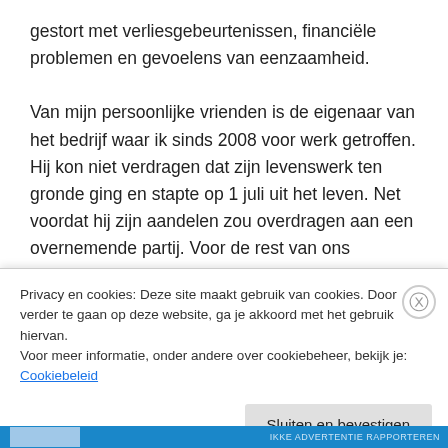gestort met verliesgebeurtenissen, financiële problemen en gevoelens van eenzaamheid.

Van mijn persoonlijke vrienden is de eigenaar van het bedrijf waar ik sinds 2008 voor werk getroffen. Hij kon niet verdragen dat zijn levenswerk ten gronde ging en stapte op 1 juli uit het leven. Net voordat hij zijn aandelen zou overdragen aan een overnemende partij. Voor de rest van ons (werknemers) was de overname een redding, een veilige haven. Maar voor Alex voelde dit helemaal anders. Wat er precies in zijn hoofd heeft afgespeeld zullen we
Privacy en cookies: Deze site maakt gebruik van cookies. Door verder te gaan op deze website, ga je akkoord met het gebruik hiervan.
Voor meer informatie, onder andere over cookiebeheer, bekijk je:
Cookiebeleid
Sluiten en bevestigen